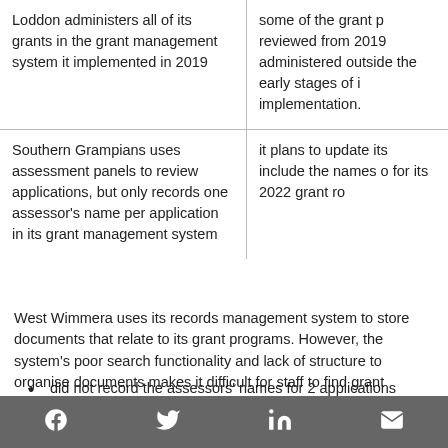|  |  |
| --- | --- |
| Loddon administers all of its grants in the grant management system it implemented in 2019 | some of the grant p reviewed from 2019 administered outside the early stages of i implementation. |
| Southern Grampians uses assessment panels to review applications, but only records one assessor's name per application in its grant management system | it plans to update its include the names o for its 2022 grant ro |
West Wimmera uses its records management system to store documents that relate to its grant programs. However, the system's poor search functionality and lack of structure to organise documents makes it difficult for staff to find grant records. West Wimmera:
did not record the assessors' names for 2 applications